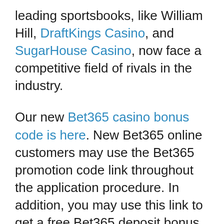leading sportsbooks, like William Hill, DraftKings Casino, and SugarHouse Casino, now face a competitive field of rivals in the industry.
Our new Bet365 casino bonus code is here. New Bet365 online customers may use the Bet365 promotion code link throughout the application procedure. In addition, you may use this link to get a free Bet365 deposit bonus in any area in the world.
If you want to enjoy the Bet365 casino deal, you must apply our Bet365 PA online casino promo code. This Bet365 casino promo code is yours to keep, so take advantage of it